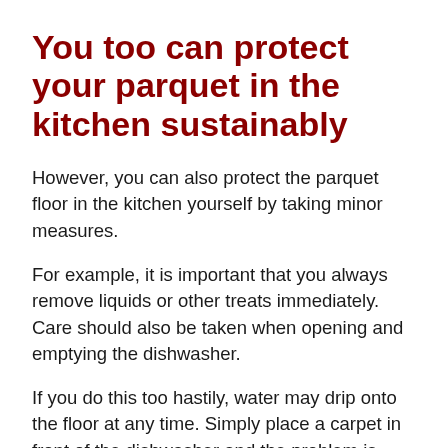You too can protect your parquet in the kitchen sustainably
However, you can also protect the parquet floor in the kitchen yourself by taking minor measures.
For example, it is important that you always remove liquids or other treats immediately. Care should also be taken when opening and emptying the dishwasher.
If you do this too hastily, water may drip onto the floor at any time. Simply place a carpet in front of the dishwasher and the problem is virtually solved by itself.
The same applies to defrosting your fridge. Even if